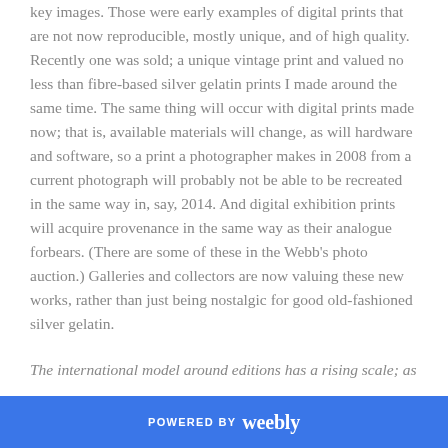key images. Those were early examples of digital prints that are not now reproducible, mostly unique, and of high quality. Recently one was sold; a unique vintage print and valued no less than fibre-based silver gelatin prints I made around the same time. The same thing will occur with digital prints made now; that is, available materials will change, as will hardware and software, so a print a photographer makes in 2008 from a current photograph will probably not be able to be recreated in the same way in, say, 2014. And digital exhibition prints will acquire provenance in the same way as their analogue forbears. (There are some of these in the Webb's photo auction.) Galleries and collectors are now valuing these new works, rather than just being nostalgic for good old-fashioned silver gelatin.
The international model around editions has a rising scale; as
POWERED BY weebly